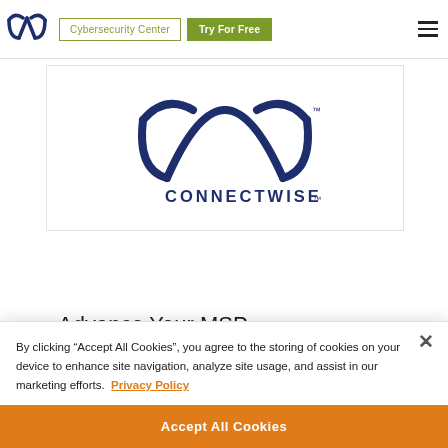ConnectWise navigation bar with logo, Cybersecurity Center button, Try For Free button, and hamburger menu
[Figure (logo): ConnectWise logo — stylized owl-like W mark in dark navy above the text CONNECTWISE in uppercase navy letters]
Advance Your MSP
By clicking "Accept All Cookies", you agree to the storing of cookies on your device to enhance site navigation, analyze site usage, and assist in our marketing efforts. Privacy Policy
Accept All Cookies